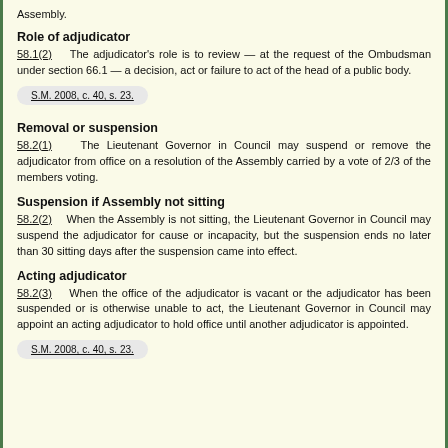Assembly.
Role of adjudicator
58.1(2)    The adjudicator's role is to review — at the request of the Ombudsman under section 66.1 — a decision, act or failure to act of the head of a public body.
S.M. 2008, c. 40, s. 23.
Removal or suspension
58.2(1)    The Lieutenant Governor in Council may suspend or remove the adjudicator from office on a resolution of the Assembly carried by a vote of 2/3 of the members voting.
Suspension if Assembly not sitting
58.2(2)    When the Assembly is not sitting, the Lieutenant Governor in Council may suspend the adjudicator for cause or incapacity, but the suspension ends no later than 30 sitting days after the suspension came into effect.
Acting adjudicator
58.2(3)    When the office of the adjudicator is vacant or the adjudicator has been suspended or is otherwise unable to act, the Lieutenant Governor in Council may appoint an acting adjudicator to hold office until another adjudicator is appointed.
S.M. 2008, c. 40, s. 23.